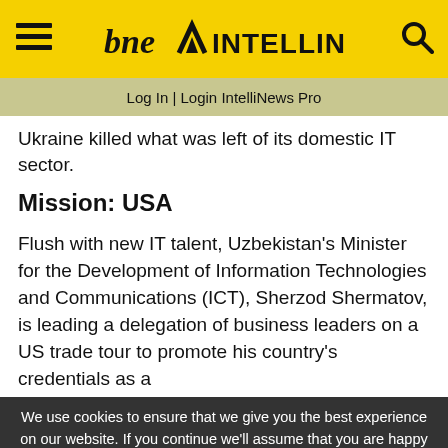bne INTELLINEWS
Log In | Login IntelliNews Pro
Ukraine killed what was left of its domestic IT sector.
Mission: USA
Flush with new IT talent, Uzbekistan's Minister for the Development of Information Technologies and Communications (ICT), Sherzod Shermatov, is leading a delegation of business leaders on a US trade tour to promote his country's credentials as a
We use cookies to ensure that we give you the best experience on our website. If you continue we'll assume that you are happy to receive all cookies from this website. Accept  View Cookie
Facebook | Twitter | Email | Share